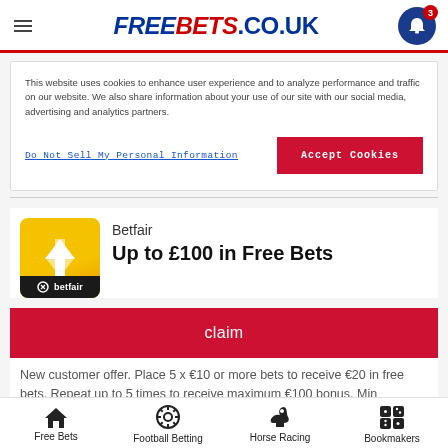FREEBETS.CO.UK
This website uses cookies to enhance user experience and to analyze performance and traffic on our website. We also share information about your use of our site with our social media, advertising and analytics partners.
Do Not Sell My Personal Information
Accept Cookies
Betfair
Up to £100 in Free Bets
claim
New customer offer. Place 5 x €10 or more bets to receive €20 in free bets. Repeat up to 5 times to receive maximum €100 bonus. Min
Free Bets  Football Betting  Horse Racing  Bookmakers